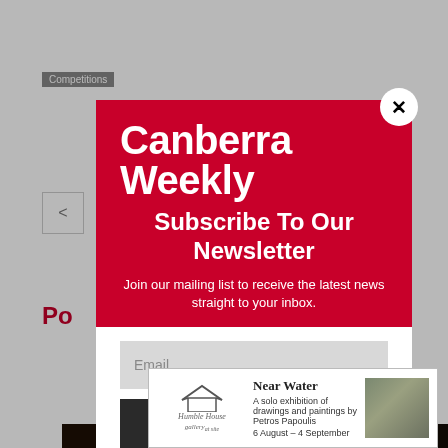[Figure (screenshot): Canberra Weekly website screenshot showing a newsletter subscription modal overlay on a page with 'Competitions' tag. The red modal contains the Canberra Weekly logo, 'Subscribe To Our Newsletter' heading, descriptive text, an email input field, and a SUBSCRIBE! button. An advertisement banner for 'Near Water' exhibition by Humble House Gallery is visible at the bottom.]